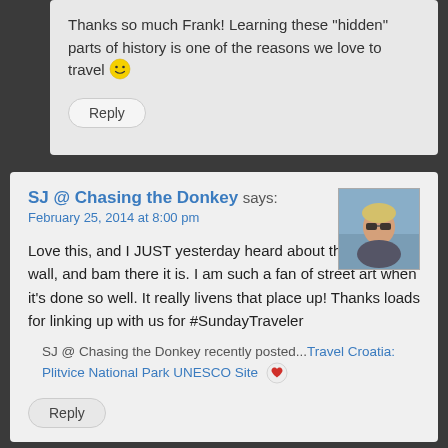Thanks so much Frank! Learning these “hidden” parts of history is one of the reasons we love to travel 😊
Reply
SJ @ Chasing the Donkey says:
February 25, 2014 at 8:00 pm
[Figure (photo): Avatar photo of SJ, a woman with blonde hair and sunglasses, outdoors near water]
Love this, and I JUST yesterday heard about that graffiti wall, and bam there it is. I am such a fan of street art when it’s done so well. It really livens that place up! Thanks loads for linking up with us for #SundayTraveler
SJ @ Chasing the Donkey recently posted...Travel Croatia: Plitvice National Park UNESCO Site ❤
Reply